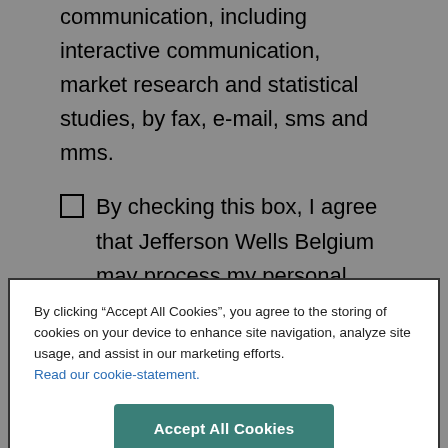communication, including interactive communication, market research and statistical studies, by fax, e-mail, sms and mms.
By checking this box, I agree that Jefferson Wells Belgium may process my personal data according to the terms of the
By clicking “Accept All Cookies”, you agree to the storing of cookies on your device to enhance site navigation, analyze site usage, and assist in our marketing efforts. Read our cookie-statement.
Accept All Cookies